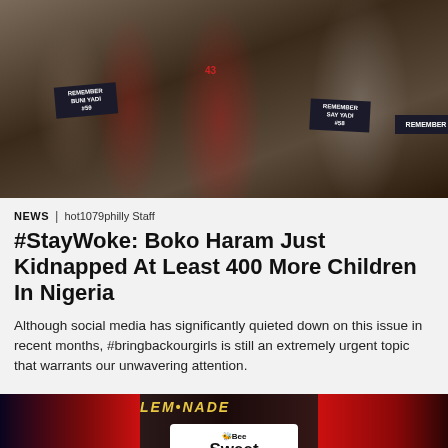[Figure (photo): Crowd of protesters holding signs that read 'REMEMBER BUNI YADI #59' and 'REMEMBER SAY YADI #58' and 'REMEMBER', many wearing red shirts, related to #BringBackOurGirls campaign]
NEWS | hot1079philly Staff
#StayWoke: Boko Haram Just Kidnapped At Least 400 More Children In Nigeria
Although social media has significantly quieted down on this issue in recent months, #bringbackourgirls is still an extremely urgent topic that warrants our unwavering attention.
[Figure (photo): TV studio or event scene with red curtains, a 'Bee Sweet Lemonade' sign display, and a person standing to the right, with 'LEMONADE' text banner visible at top]
• • •